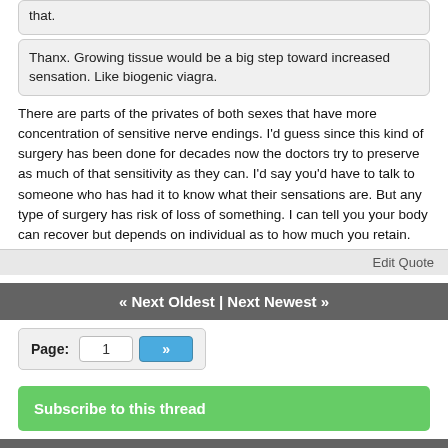that.
Thanx. Growing tissue would be a big step toward increased sensation. Like biogenic viagra.
There are parts of the privates of both sexes that have more concentration of sensitive nerve endings. I'd guess since this kind of surgery has been done for decades now the doctors try to preserve as much of that sensitivity as they can. I'd say you'd have to talk to someone who has had it to know what their sensations are. But any type of surgery has risk of loss of something. I can tell you your body can recover but depends on individual as to how much you retain.
Edit   Quote
« Next Oldest | Next Newest »
Page:  1  »
Subscribe to this thread
🏠 atheist forums    return to top 🏠